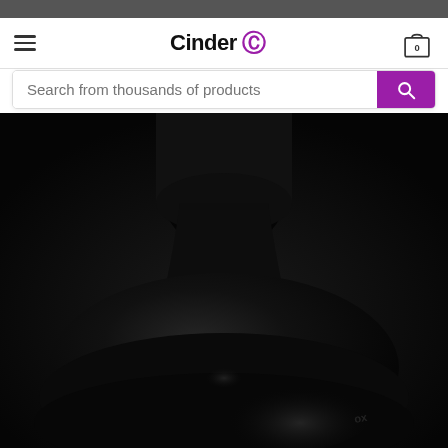Cinder — e-commerce website header with logo, hamburger menu, cart icon
[Figure (screenshot): Search bar with placeholder text 'Search from thousands of products' and a purple search button with magnifying glass icon]
[Figure (photo): Close-up product photo of a black object on a white background, shot from above at an angle showing its rounded base and narrower top]